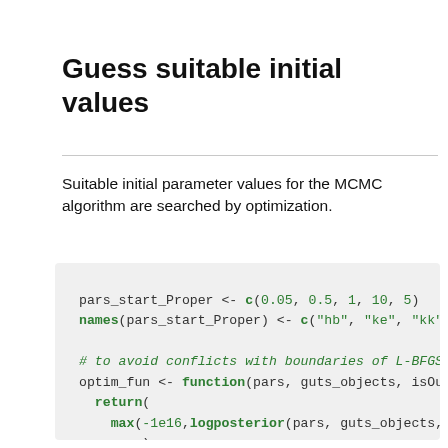Guess suitable initial values
Suitable initial parameter values for the MCMC algorithm are searched by optimization.
[Figure (screenshot): R code block showing pars_start_Proper assignment, names assignment, comment about L-BFGS-B boundaries, optim_fun function definition with return and max/logposterior calls, optim_result_Proper assignment with optim(), if statement checking convergence with warning call.]